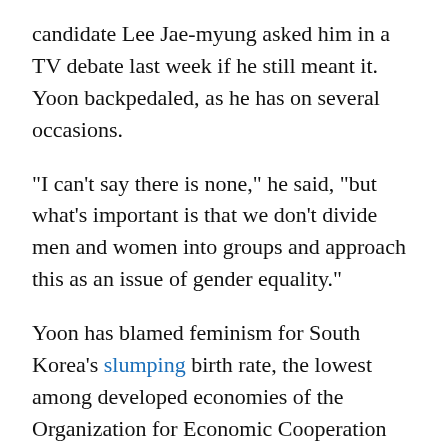candidate Lee Jae-myung asked him in a TV debate last week if he still meant it. Yoon backpedaled, as he has on several occasions.
"I can't say there is none," he said, "but what's important is that we don't divide men and women into groups and approach this as an issue of gender equality."
Yoon has blamed feminism for South Korea's slumping birth rate, the lowest among developed economies of the Organization for Economic Cooperation and Development.
Conservatives are calling for ministry to be shut down
He has also pledged that, if elected, he will abolish the Ministry of Gender Equality and Family. The organization...